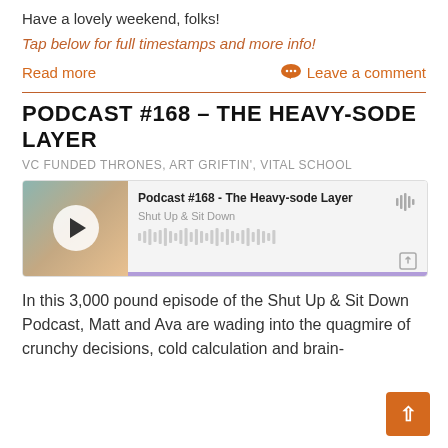Have a lovely weekend, folks!
Tap below for full timestamps and more info!
Read more   Leave a comment
PODCAST #168 – THE HEAVY-SODE LAYER
VC FUNDED THRONES, ART GRIFTIN', VITAL SCHOOL
[Figure (other): Podcast player widget for Podcast #168 - The Heavy-sode Layer by Shut Up & Sit Down, showing a play button over a thumbnail image, episode title, podcast name, waveform, and share icon with a purple progress bar at the bottom.]
In this 3,000 pound episode of the Shut Up & Sit Down Podcast, Matt and Ava are wading into the quagmire of crunchy decisions, cold calculation and brain-